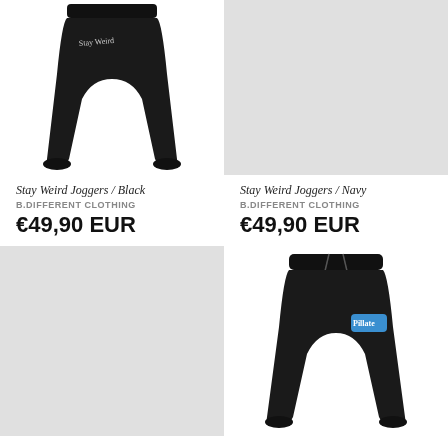[Figure (photo): Black jogger sweatpants product photo on white background, top left]
[Figure (photo): Light gray placeholder rectangle for navy joggers, top right]
Stay Weird Joggers / Black
B.DIFFERENT CLOTHING
€49,90 EUR
Stay Weird Joggers / Navy
B.DIFFERENT CLOTHING
€49,90 EUR
[Figure (photo): Light gray placeholder rectangle, bottom left]
[Figure (photo): Black jogger sweatpants with blue logo product photo on white background, bottom right]